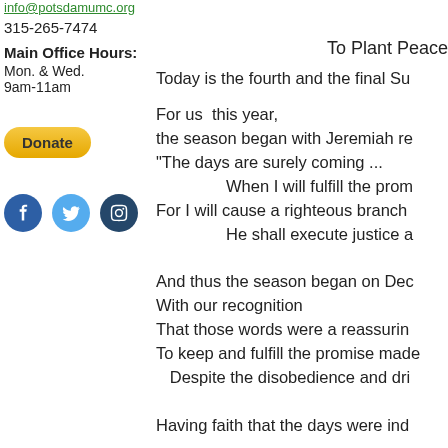info@potsaomume.org
315-265-7474
Main Office Hours:
Mon. & Wed.
9am-11am
[Figure (other): Donate button (yellow rounded rectangle)]
[Figure (other): Social media icons: Facebook (blue), Twitter (light blue), Instagram (dark blue)]
To Plant Peace
Today is the fourth and the final Su
For us  this year,
the season began with Jeremiah re
"The days are surely coming ...
            When I will fulfill the prom
For I will cause a righteous branch
            He shall execute justice a
And thus the season began on Dec
With our recognition
That those words were a reassurin
To keep and fulfill the promise made
   Despite the disobedience and dri
Having faith that the days were ind